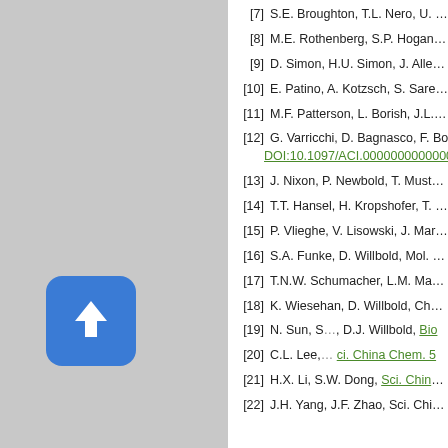[7] S.E. Broughton, T.L. Nero, U. Dhagat,
[8] M.E. Rothenberg, S.P. Hogan, Annu. R
[9] D. Simon, H.U. Simon, J. Allergy Clin.
[10] E. Patino, A. Kotzsch, S. Saremba, et
[11] M.F. Patterson, L. Borish, J.L. Kenned
[12] G. Varricchi, D. Bagnasco, F. Borriello DOI:10.1097/ACI.0000000000000251
[13] J. Nixon, P. Newbold, T. Mustelin, G.P
[14] T.T. Hansel, H. Kropshofer, T. Singer,
[15] P. Vlieghe, V. Lisowski, J. Martinez, M
[16] S.A. Funke, D. Willbold, Mol. Biosyst.
[17] T.N.W. Schumacher, L.M. Mayr, D.L. M
[18] K. Wiesehan, D. Willbold, ChemBioCh
[19] N. Sun, S. ..., D.J. Willbold, Bio
[20] C.L. Lee, ... Sci. China Chem. 5
[21] H.X. Li, S.W. Dong, Sci. China Chem.
[22] J.H. Yang, J.F. Zhao, Sci. China Chem